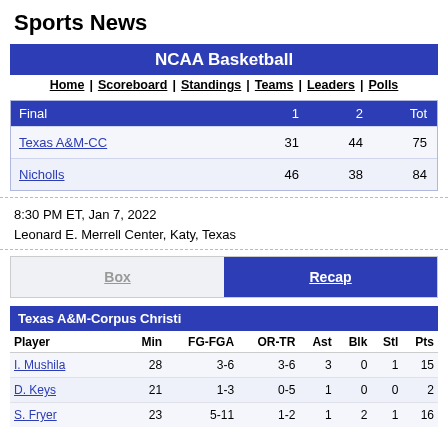Sports News
NCAA Basketball
Home | Scoreboard | Standings | Teams | Leaders | Polls
| Final | 1 | 2 | Tot |
| --- | --- | --- | --- |
| Texas A&M-CC | 31 | 44 | 75 |
| Nicholls | 46 | 38 | 84 |
8:30 PM ET, Jan 7, 2022
Leonard E. Merrell Center, Katy, Texas
Box | Recap
Texas A&M-Corpus Christi
| Player | Min | FG-FGA | OR-TR | Ast | Blk | Stl | Pts |
| --- | --- | --- | --- | --- | --- | --- | --- |
| I. Mushila | 28 | 3-6 | 3-6 | 3 | 0 | 1 | 15 |
| D. Keys | 21 | 1-3 | 0-5 | 1 | 0 | 0 | 2 |
| S. Fryer | 23 | 5-11 | 1-2 | 1 | 2 | 1 | 16 |